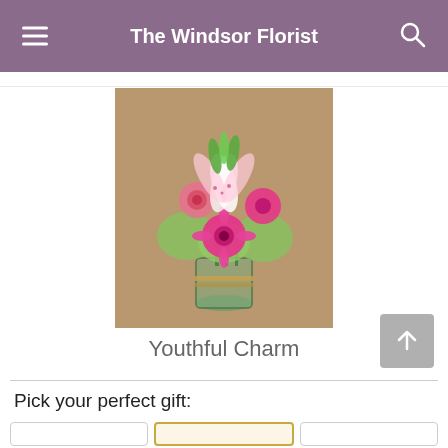The Windsor Florist
[Figure (photo): A floral arrangement called Youthful Charm featuring pink gerbera daisies, pink roses, white and pink oriental lilies, and green hydrangeas arranged in a clear glass vase tied with twine, set against a brown fabric background.]
Youthful Charm
Pick your perfect gift: